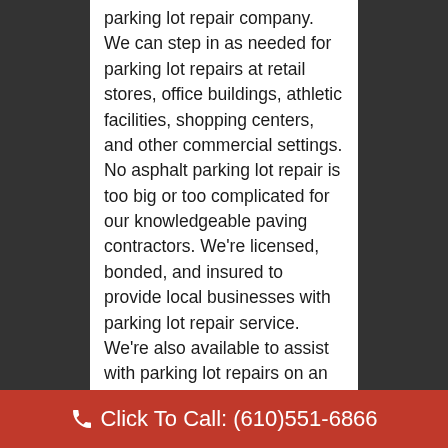parking lot repair company. We can step in as needed for parking lot repairs at retail stores, office buildings, athletic facilities, shopping centers, and other commercial settings. No asphalt parking lot repair is too big or too complicated for our knowledgeable paving contractors. We're licensed, bonded, and insured to provide local businesses with parking lot repair service. We're also available to assist with parking lot repairs on an emergency basis. If you have an urgent matter, reach us right away for timely parking lot protection. We hr...
Click To Call: (610)551-6866